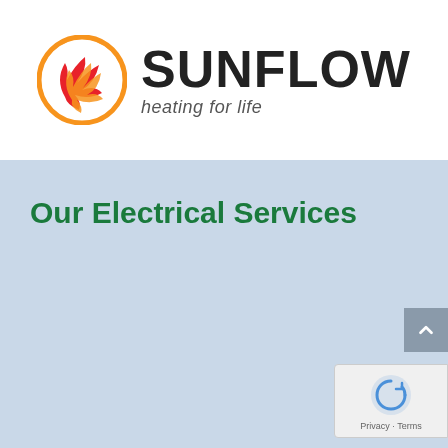[Figure (logo): Sunflow logo: orange and red circular swirl icon on the left, with bold 'SUNFLOW' text and italic tagline 'heating for life' on the right]
Our Electrical Services